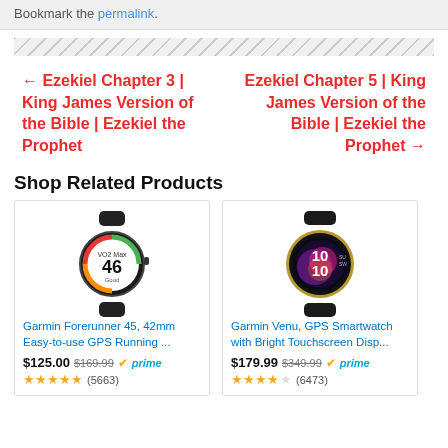Bookmark the permalink.
← Ezekiel Chapter 3 | King James Version of the Bible | Ezekiel the Prophet
Ezekiel Chapter 5 | King James Version of the Bible | Ezekiel the Prophet →
Shop Related Products
[Figure (photo): Garmin Forerunner 45 42mm GPS Running Watch in black]
Garmin Forerunner 45, 42mm Easy-to-use GPS Running ...
$125.00  $169.99  ✓prime
★★★★★ (5663)
[Figure (photo): Garmin Venu GPS Smartwatch with gold case and black band]
Garmin Venu, GPS Smartwatch with Bright Touchscreen Disp...
$179.99  $349.99  ✓prime
★★★★☆ (6473)